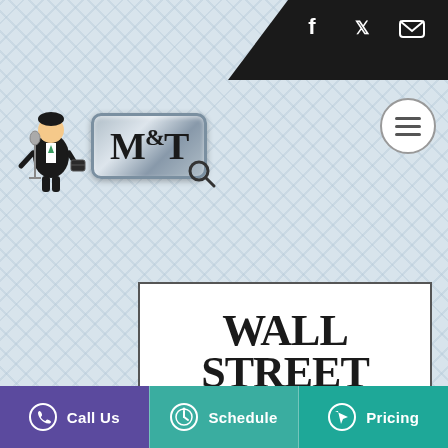[Figure (logo): Social media icons (Facebook, Twitter, Email) on black diagonal top-right bar]
[Figure (logo): MI&T logo badge with cartoon businessman figure and magnifying glass, Wall Street Journal co-branding]
[Figure (logo): Wall Street Journal logo in white box with border]
[Figure (illustration): Green and teal polka-dot globe/ball logo in white rounded box]
[Figure (infographic): Bottom CTA bar with Call Us (purple), Schedule (teal), Pricing (dark teal) buttons]